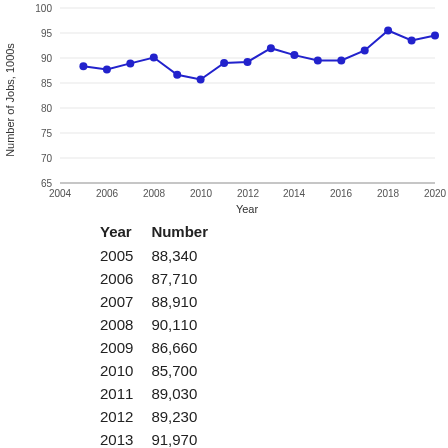[Figure (line-chart): ]
| Year | Number |
| --- | --- |
| 2005 | 88,340 |
| 2006 | 87,710 |
| 2007 | 88,910 |
| 2008 | 90,110 |
| 2009 | 86,660 |
| 2010 | 85,700 |
| 2011 | 89,030 |
| 2012 | 89,230 |
| 2013 | 91,970 |
| 2014 | 90,590 |